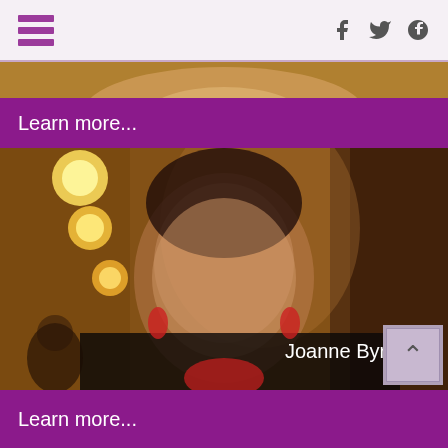[ hamburger menu ] f ⓣ ⓟ
[Figure (photo): Partial top of a person's head and shoulders, partially cropped, with golden/tan background]
Learn more...
[Figure (photo): Portrait photo of Joanne Byrne, a woman with dark hair pulled back, wearing red earrings and a red outfit, smiling, with warm golden lighting from chandeliers in the background. Name label 'Joanne Byrne' appears in white text at bottom right.]
Learn more...